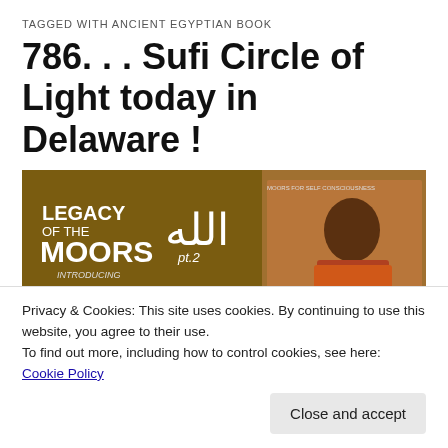TAGGED WITH ANCIENT EGYPTIAN BOOK
786. . . Sufi Circle of Light today in Delaware !
[Figure (photo): Event flyer for 'Legacy of the Moors pt. 2' featuring Bro. Sufi. Left panel shows text 'LEGACY OF THE MOORS pt.2', 'Introducing Bro. SUFI', 'TUESDAY SEPT. 30, 2014', 'Time: 7-9pm', 'ROSEHILL COMMUNITY CENTER RM. B110'. Arabic text (Allah) in white. Right panel shows a man in orange/red clothing and book cover '786 DIVINE MIND SCIENCE - SUFI MEDITATION'.]
Privacy & Cookies: This site uses cookies. By continuing to use this website, you agree to their use.
To find out more, including how to control cookies, see here: Cookie Policy
Close and accept